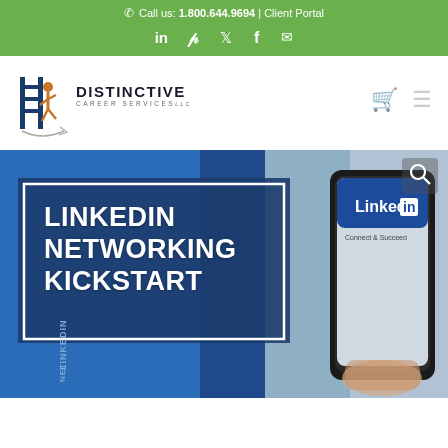📞 Call us: 1.800.644.9694 | Client Portal
[Figure (logo): Distinctive Career Services LLC logo with ladder and figure icon]
[Figure (illustration): Hero banner showing LinkedIn Networking Kickstart with phone displaying LinkedIn app, blue gradient background with dark navy text box and white border]
LINKEDIN NETWORKING KICKSTART